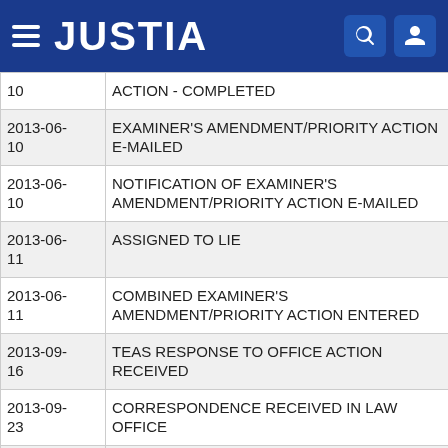JUSTIA
| Date | Action |
| --- | --- |
| 10 | ACTION - COMPLETED |
| 2013-06-10 | EXAMINER'S AMENDMENT/PRIORITY ACTION E-MAILED |
| 2013-06-10 | NOTIFICATION OF EXAMINER'S AMENDMENT/PRIORITY ACTION E-MAILED |
| 2013-06-11 | ASSIGNED TO LIE |
| 2013-06-11 | COMBINED EXAMINER'S AMENDMENT/PRIORITY ACTION ENTERED |
| 2013-09-16 | TEAS RESPONSE TO OFFICE ACTION RECEIVED |
| 2013-09-23 | CORRESPONDENCE RECEIVED IN LAW OFFICE |
| 2013-09-23 | TEAS/EMAIL CORRESPONDENCE ENTERED |